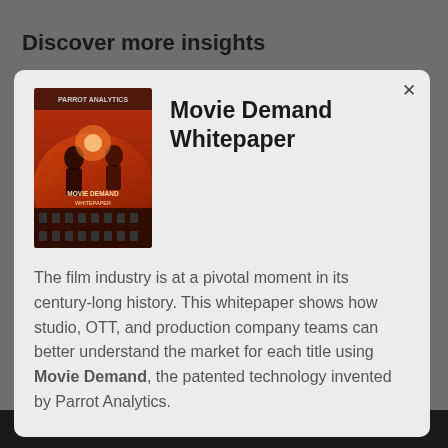Discover more insights
Movie Demand Whitepaper
[Figure (illustration): Book cover thumbnail for Movie Demand Whitepaper showing dramatic movie-themed illustration with orange/red tones and figures]
The film industry is at a pivotal moment in its century-long history. This whitepaper shows how studio, OTT, and production company teams can better understand the market for each title using Movie Demand, the patented technology invented by Parrot Analytics.